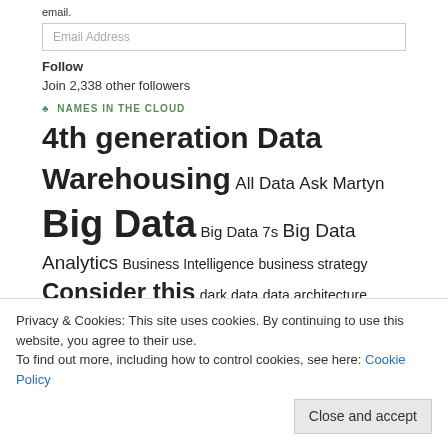email.
Email Address
Follow
Join 2,338 other followers
♣ NAMES IN THE CLOUD
[Figure (other): Tag cloud with topics: 4th generation Data Warehousing, All Data, Ask Martyn, Big Data, Big Data 7s, Big Data Analytics, Business Intelligence, business strategy, Consider this, dark data, data architecture, Data governance, Data Lake, data management, data science, Data Supply Framework, Data Warehouse, Data Warehousing, Good Strat, goodstrat, Good Strategy, IT strategy, Martyn dare, Martyn Jones]
Privacy & Cookies: This site uses cookies. By continuing to use this website, you agree to their use.
To find out more, including how to control cookies, see here: Cookie Policy
Close and accept